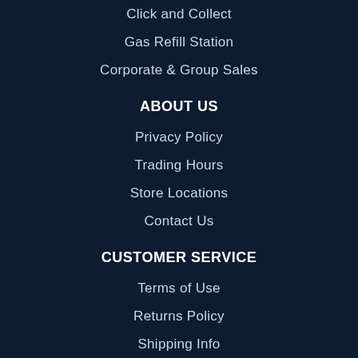Click and Collect
Gas Refill Station
Corporate & Group Sales
ABOUT US
Privacy Policy
Trading Hours
Store Locations
Contact Us
CUSTOMER SERVICE
Terms of Use
Returns Policy
Shipping Info
Track Order
My Account
Order Placement
Size Guide